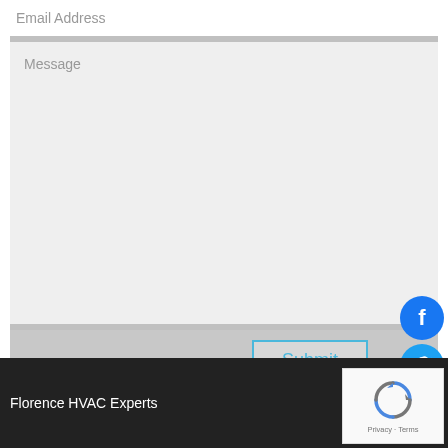Email Address
Message
Submit
[Figure (screenshot): Facebook and Twitter social share circular icon buttons in blue]
Florence HVAC Experts
[Figure (screenshot): reCAPTCHA widget box showing recycling arrows logo and Privacy - Terms text]